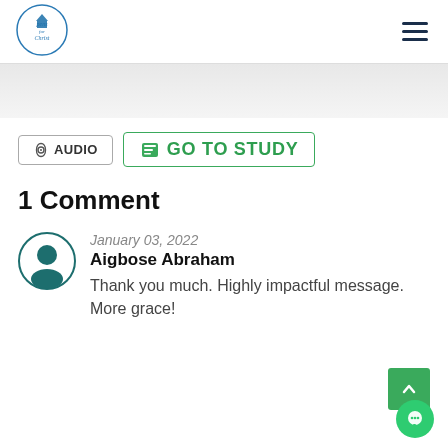[Figure (logo): Pens for Christ circular logo with a pen/house icon and text around the border]
[Figure (other): Hamburger menu icon (three horizontal lines)]
[Figure (other): Gray gradient banner area]
AUDIO
GO TO STUDY
1 Comment
January 03, 2022
Aigbose Abraham
Thank you much. Highly impactful message. More grace!